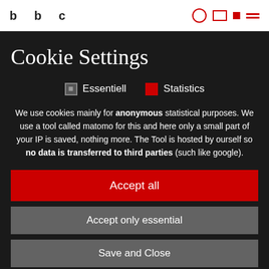Cookie Settings page header with navigation icons
Cookie Settings
Essentiell   Statistics
We use cookies mainly for anonymous statistical purposes. We use a tool called matomo for this and here only a small part of your IP is saved, nothing more. The Tool is hosted by ourself so no data is transferred to third parties (such like google).
Accept all
Accept only essential
Save and Close
Get more info about used cookies